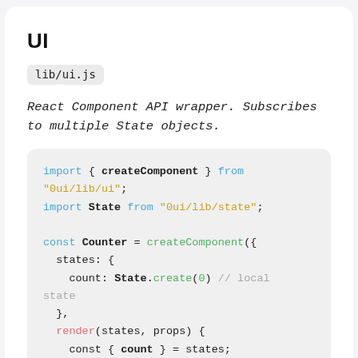UI
lib/ui.js
React Component API wrapper. Subscribes to multiple State objects.
[Figure (screenshot): Code block showing JavaScript import and component creation using createComponent with states and render method]